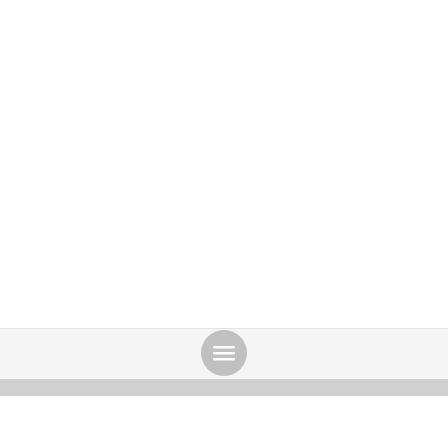Acronyms browser
[Figure (other): Navigation menu button (hamburger icon) — circular grey button with three horizontal white lines]
?